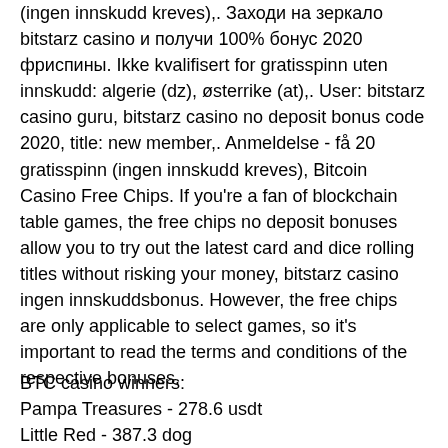(ingen innskudd kreves),. Заходи на зеркало bitstarz casino и получи 100% бонус 2020 фриспины. Ikke kvalifisert for gratisspinn uten innskudd: algerie (dz), østerrike (at),. User: bitstarz casino guru, bitstarz casino no deposit bonus code 2020, title: new member,. Anmeldelse - få 20 gratisspinn (ingen innskudd kreves), Bitcoin Casino Free Chips. If you're a fan of blockchain table games, the free chips no deposit bonuses allow you to try out the latest card and dice rolling titles without risking your money, bitstarz casino ingen innskuddsbonus. However, the free chips are only applicable to select games, so it's important to read the terms and conditions of the respective bonuses.
BTC casino winners:
Pampa Treasures - 278.6 usdt
Little Red - 387.3 dog